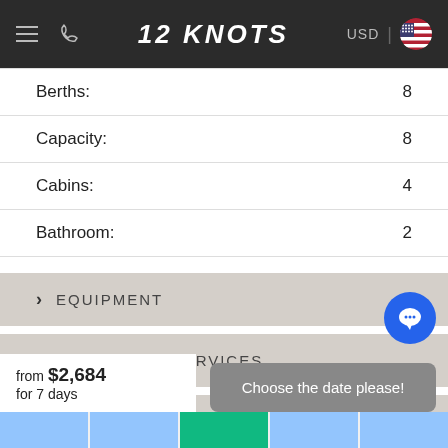12 KNOTS — USD
Berths: 8
Capacity: 8
Cabins: 4
Bathroom: 2
EQUIPMENT
ADDITIONAL SERVICES
AVAILABILITY
PRICE LIST
from $2,684 for 7 days
Choose the date please!